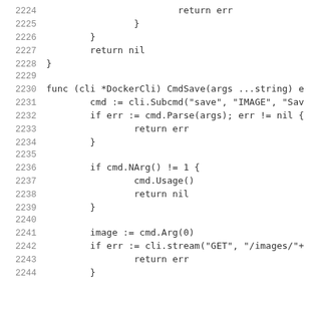2224    return err
2225    }
2226    }
2227    return nil
2228 }
2229
2230 func (cli *DockerCli) CmdSave(args ...string) e
2231    cmd := cli.Subcmd("save", "IMAGE", "Sav
2232    if err := cmd.Parse(args); err != nil {
2233        return err
2234    }
2235
2236    if cmd.NArg() != 1 {
2237        cmd.Usage()
2238        return nil
2239    }
2240
2241    image := cmd.Arg(0)
2242    if err := cli.stream("GET", "/images/"+
2243        return err
2244    }